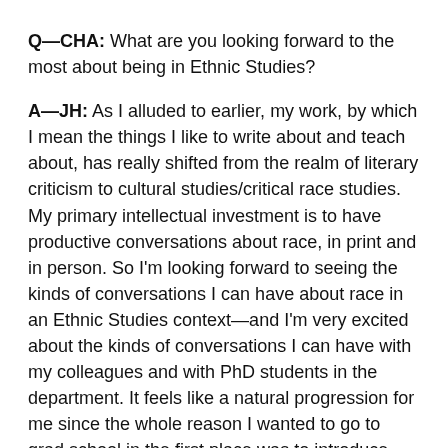Q—CHA: What are you looking forward to the most about being in Ethnic Studies?
A—JH: As I alluded to earlier, my work, by which I mean the things I like to write about and teach about, has really shifted from the realm of literary criticism to cultural studies/critical race studies. My primary intellectual investment is to have productive conversations about race, in print and in person. So I'm looking forward to seeing the kinds of conversations I can have about race in an Ethnic Studies context—and I'm very excited about the kinds of conversations I can have with my colleagues and with PhD students in the department. It feels like a natural progression for me since the whole reason I wanted to go to grad school in the first place was to introduce people to Asian American literature and the issues Asian Americans face. Asian American literature and literary study will always be a passion of mine, but as I've grown in my thinking and teaching and critically examining the need to